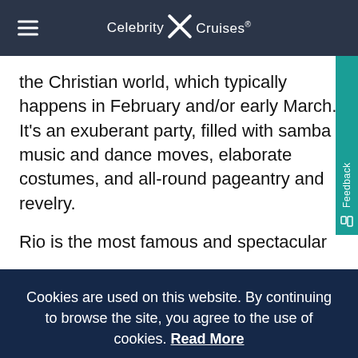Celebrity X Cruises®
the Christian world, which typically happens in February and/or early March. It's an exuberant party, filled with samba music and dance moves, elaborate costumes, and all-round pageantry and revelry.
Rio is the most famous and spectacular
Cookies are used on this website. By continuing to browse the site, you agree to the use of cookies. Read More
OKAY
Chat